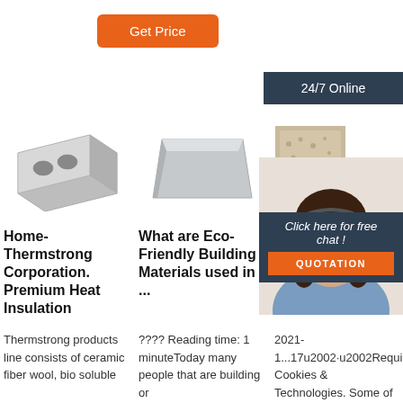Get Price
24/7 Online
[Figure (photo): White insulation brick with two holes]
[Figure (photo): Grey eco-friendly building material block]
[Figure (photo): Tan porous foam/insulation block partially obscured]
[Figure (photo): Customer service woman with headset smiling]
Home-Thermstrong Corporation. Premium Heat Insulation
What are Eco-Friendly Building Materials used in ...
Stove Cover Electr...
Thermstrong products line consists of ceramic fiber wool, bio soluble
???? Reading time: 1 minuteToday many people that are building or
2021-1...17u2002·u2002Required Cookies & Technologies. Some of the technologies we use are necessary for critical
Click here for free chat !
QUOTATION